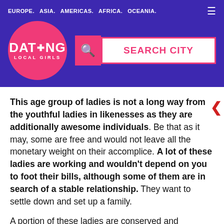EUROPE.  ASIA.  AMERICAS.  AFRICA.  OCEANIA.
[Figure (logo): Dating Local Girls logo — pink circle with white text DAT+NG LOCAL GIRLS, with a crosshair/plus replacing the I in DATING]
SEARCH CITY (search bar)
This age group of ladies is not a long way from the youthful ladies in likenesses as they are additionally awesome individuals. Be that as it may, some are free and would not leave all the monetary weight on their accomplice. A lot of these ladies are working and wouldn't depend on you to foot their bills, although some of them are in search of a stable relationship. They want to settle down and set up a family.
A portion of these ladies are conserved and reserved, so you have to go to meet an individual who is free and prepared to be wild. It will be right of you not to go with